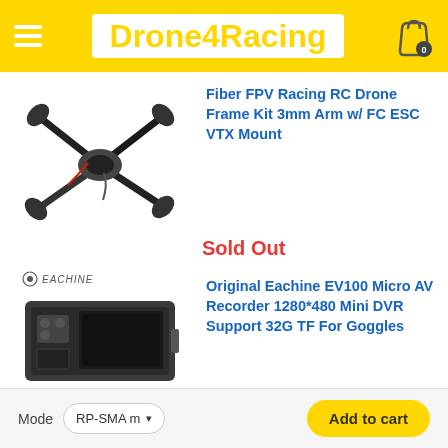Drone4Racing
Fiber FPV Racing RC Drone Frame Kit 3mm Arm w/ FC ESC VTX Mount
[Figure (photo): Carbon fiber FPV racing drone frame kit, X-shaped quad frame with arms visible from top]
Sold Out
Original Eachine EV100 Micro AV Recorder 1280*480 Mini DVR Support 32G TF For Goggles
[Figure (photo): Eachine branded small black DVR recorder device, rectangular with buttons, logo visible]
Mode  RP-SMA m ▾   Add to cart